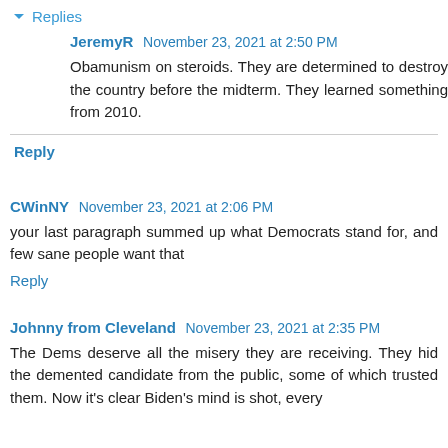Replies
JeremyR November 23, 2021 at 2:50 PM
Obamunism on steroids. They are determined to destroy the country before the midterm. They learned something from 2010.
Reply
CWinNY November 23, 2021 at 2:06 PM
your last paragraph summed up what Democrats stand for, and few sane people want that
Reply
Johnny from Cleveland November 23, 2021 at 2:35 PM
The Dems deserve all the misery they are receiving. They hid the demented candidate from the public, some of which trusted them. Now it's clear Biden's mind is shot, every